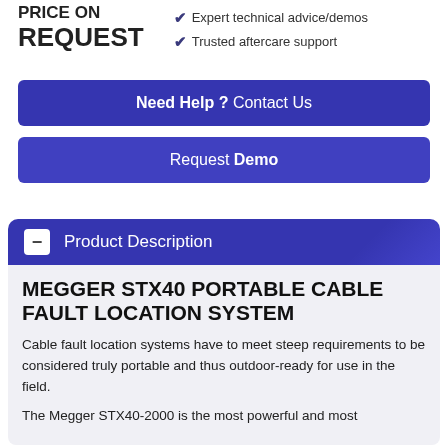PRICE ON REQUEST
Expert technical advice/demos
Trusted aftercare support
Need Help ? Contact Us
Request Demo
Product Description
MEGGER STX40 PORTABLE CABLE FAULT LOCATION SYSTEM
Cable fault location systems have to meet steep requirements to be considered truly portable and thus outdoor-ready for use in the field.
The Megger STX40-2000 is the most powerful and most